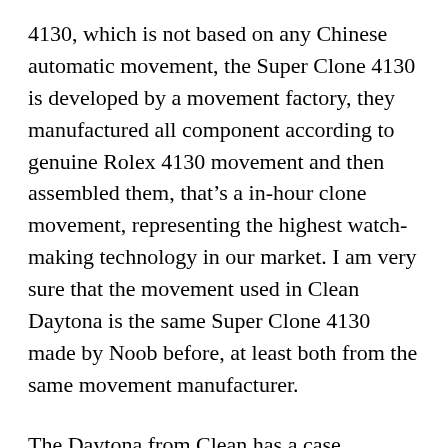4130, which is not based on any Chinese automatic movement, the Super Clone 4130 is developed by a movement factory, they manufactured all component according to genuine Rolex 4130 movement and then assembled them, that’s a in-hour clone movement, representing the highest watch-making technology in our market. I am very sure that the movement used in Clean Daytona is the same Super Clone 4130 made by Noob before, at least both from the same movement manufacturer.
The Daytona from Clean has a case diameter of 40mm, it has the same case thickness as genuine Daytona, which is 12.5mm. All other Daytona in the market, whether from TW, EW or JH, they are all much thicker than 12.5mm. So if you are looing for the best Daytona replica with 1:1 exact case and super clone movement, then Clean factory is only the option.